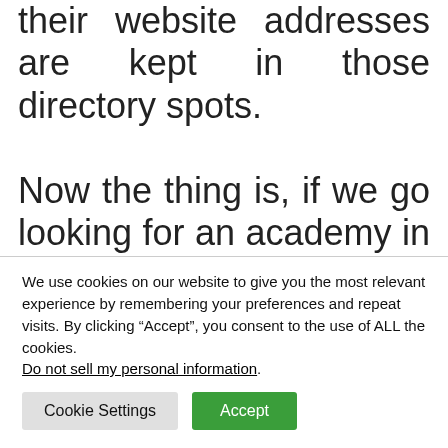their website addresses are kept in those directory spots.

Now the thing is, if we go looking for an academy in an area, we will do a Google hunt for the stylish academy near me type, but when there was no google, how did people search for it? This kind of
We use cookies on our website to give you the most relevant experience by remembering your preferences and repeat visits. By clicking “Accept”, you consent to the use of ALL the cookies.
Do not sell my personal information.
Cookie Settings
Accept